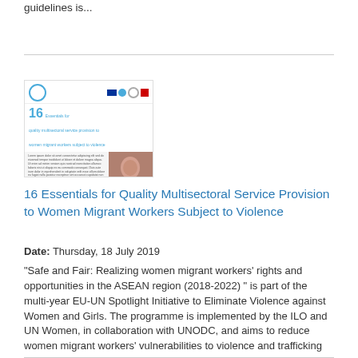guidelines is...
[Figure (other): Thumbnail cover of the document '16 Essentials for Quality Multisectoral Service Provision to Women Migrant Workers Subject to Violence', showing logos, cyan number 16 heading, body text, and a photo of a woman in pink.]
16 Essentials for Quality Multisectoral Service Provision to Women Migrant Workers Subject to Violence
Date: Thursday, 18 July 2019
"Safe and Fair: Realizing women migrant workers' rights and opportunities in the ASEAN region (2018-2022) " is part of the multi-year EU-UN Spotlight Initiative to Eliminate Violence against Women and Girls. The programme is implemented by the ILO and UN Women, in collaboration with UNODC, and aims to reduce women migrant workers' vulnerabilities to violence and trafficking and increase their access to coordinated and responsive quality services.